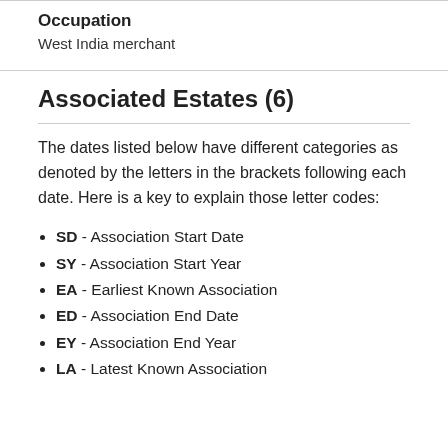Occupation
West India merchant
Associated Estates (6)
The dates listed below have different categories as denoted by the letters in the brackets following each date. Here is a key to explain those letter codes:
SD - Association Start Date
SY - Association Start Year
EA - Earliest Known Association
ED - Association End Date
EY - Association End Year
LA - Latest Known Association